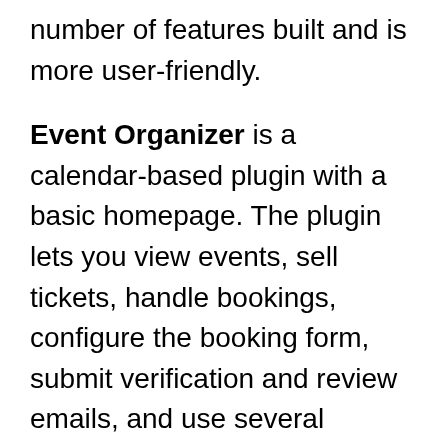number of features built and is more user-friendly.
Event Organizer is a calendar-based plugin with a basic homepage. The plugin lets you view events, sell tickets, handle bookings, configure the booking form, submit verification and review emails, and use several payment platforms.
5 Event Espresso
Event Espresso is one of the most prominent WordPress plugins for events